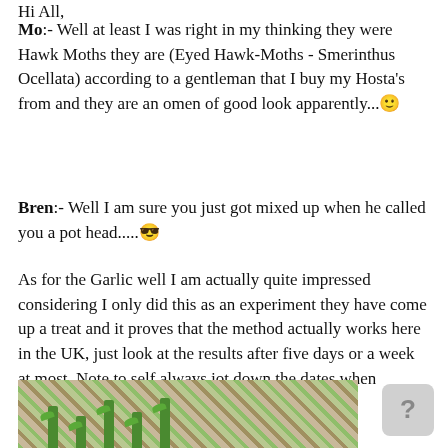Hi All,
Mo:- Well at least I was right in my thinking they were Hawk Moths they are (Eyed Hawk-Moths - Smerinthus Ocellata) according to a gentleman that I buy my Hosta's from and they are an omen of good look apparently...🙂
Bren:- Well I am sure you just got mixed up when he called you a pot head.....😎
As for the Garlic well I am actually quite impressed considering I only did this as an experiment they have come up a treat and it proves that the method actually works here in the UK, just look at the results after five days or a week at most. Note to self always jot down the dates when experimenting!!!!!...............🤓
[Figure (photo): Photo of garlic sprouts growing in gravelly/stony soil, showing green shoots emerging]